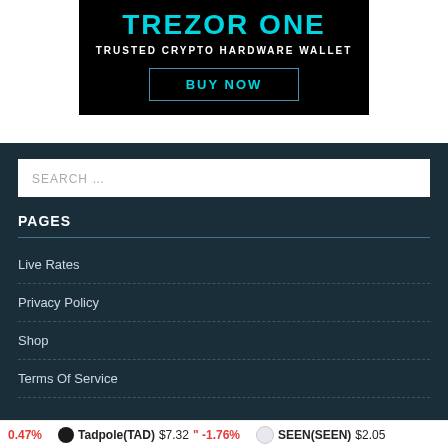[Figure (illustration): Trezor One advertisement banner with black background, cyan 'TREZOR ONE' heading, 'TRUSTED CRYPTO HARDWARE WALLET' subtitle, and 'BUY NOW' button with teal border]
PAGES
Live Rates
Privacy Policy
Shop
Terms Of Service
0.47%  Tadpole(TAD) $7.32  " -1.76%  SEEN(SEEN) $2.05